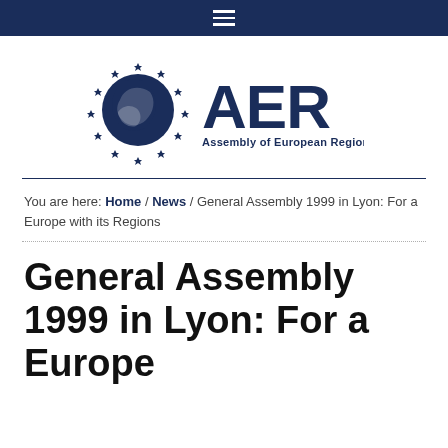☰
[Figure (logo): AER – Assembly of European Regions logo: circular arrangement of stars around Europe map globe, with large AER text and subtitle 'Assembly of European Regions']
You are here: Home / News / General Assembly 1999 in Lyon: For a Europe with its Regions
General Assembly 1999 in Lyon: For a Europe